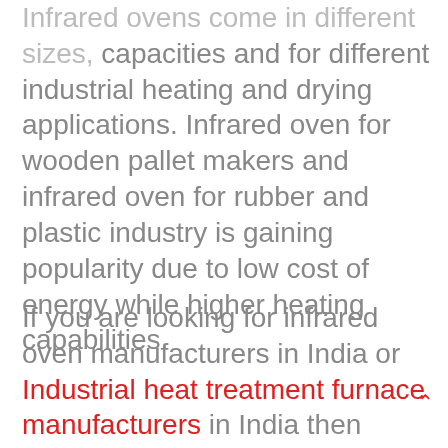Infrared ovens come in different sizes, capacities and for different industrial heating and drying applications. Infrared oven for wooden pallet makers and infrared oven for rubber and plastic industry is gaining popularity due to low cost of energy while higher heating capabilities.
If you are looking for infrared oven manufacturers in India or Industrial heat treatment furnace manufacturers in India then MAAN GLOBAL INDUSTRIES...